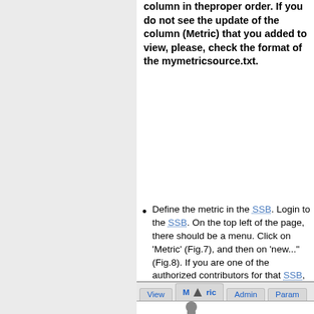column in theproper order. If you do not see the update of the column (Metric) that you added to view, please, check the format of the mymetricsource.txt.
Define the metric in the SSB. Login to the SSB. On the top left of the page, there should be a menu. Click on 'Metric' (Fig.7), and then on 'new...' (Fig.8). If you are one of the authorized contributors for that SSB, you will go to a form where you can describe the new metric (Fig.9).
[Figure (screenshot): Screenshot showing a tab bar with View, Metric (with cursor icon), Admin, Param tabs, and a partial figure below]